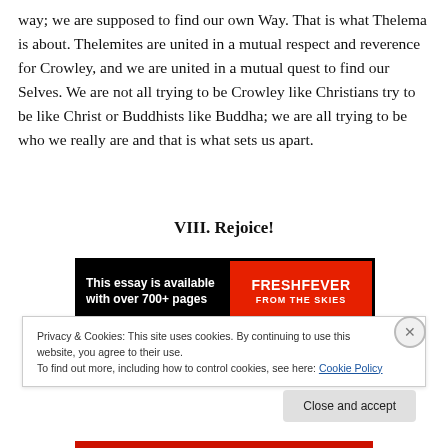way; we are supposed to find our own Way. That is what Thelema is about. Thelemites are united in a mutual respect and reverence for Crowley, and we are united in a mutual quest to find our Selves. We are not all trying to be Crowley like Christians try to be like Christ or Buddhists like Buddha; we are all trying to be who we really are and that is what sets us apart.
VIII. Rejoice!
[Figure (other): Banner advertisement: left side black background with white text 'This essay is available with over 700+ pages', right side red background with bold white text 'FRESH FEVER FROM THE SKIES']
Privacy & Cookies: This site uses cookies. By continuing to use this website, you agree to their use.
To find out more, including how to control cookies, see here: Cookie Policy
Close and accept